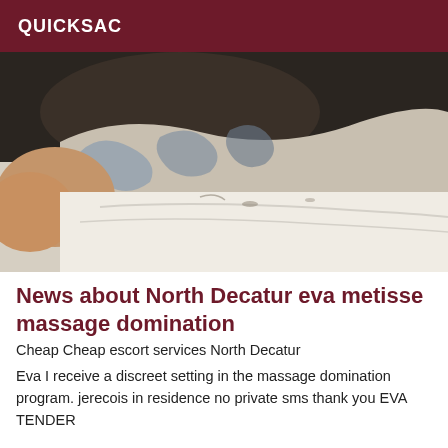QUICKSAC
[Figure (photo): Close-up photo of a person lying on a white bed/surface with patterned fabric or clothing visible.]
News about North Decatur eva metisse massage domination
Cheap Cheap escort services North Decatur
Eva I receive a discreet setting in the massage domination program. jerecois in residence no private sms thank you EVA TENDER